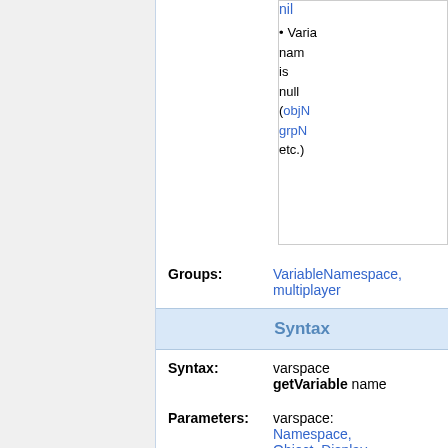[Figure (table-as-image): Partial table fragment showing a green cell and content cell with 'nil' link and bullet item about Variable name being null (objN, grpN, etc.)]
Groups: VariableNamespace, multiplayer
Syntax
Syntax: varspace getVariable name
Parameters: varspace: Namespace, Object, Display, Control, Group, Location, Task...